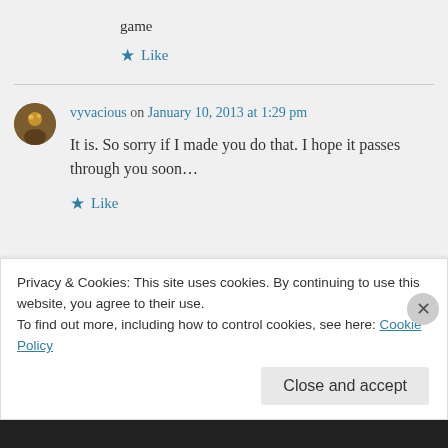game
Like
vyvacious on January 10, 2013 at 1:29 pm
It is. So sorry if I made you do that. I hope it passes through you soon…
Like
Privacy & Cookies: This site uses cookies. By continuing to use this website, you agree to their use. To find out more, including how to control cookies, see here: Cookie Policy
Close and accept